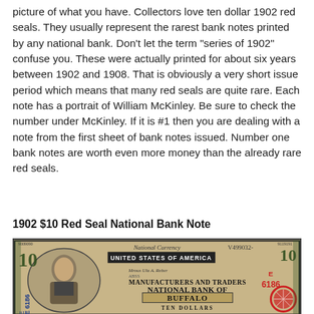picture of what you have. Collectors love ten dollar 1902 red seals. They usually represent the rarest bank notes printed by any national bank. Don’t let the term “series of 1902” confuse you. These were actually printed for about six years between 1902 and 1908. That is obviously a very short issue period which means that many red seals are quite rare. Each note has a portrait of William McKinley. Be sure to check the number under McKinley. If it is #1 then you are dealing with a note from the first sheet of bank notes issued. Number one bank notes are worth even more money than the already rare red seals.
1902 $10 Red Seal National Bank Note
[Figure (photo): Photo of a 1902 $10 Red Seal National Bank Note from Manufacturers and Traders National Bank of Buffalo, serial number V499032, charter number E 6186, featuring a portrait of William McKinley.]